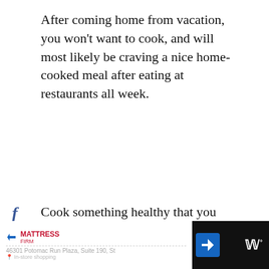After coming home from vacation, you won't want to cook, and will most likely be craving a nice home-cooked meal after eating at restaurants all week.
Cook something healthy that you enjoy. Soups freeze well, and are a tasty, healthy treat to come home to! Load the meal with veggies, as your body will certainly be craving them after a vacation!
Here are some post-vacation detox meals: